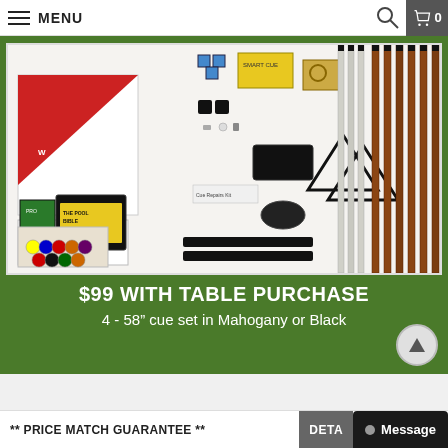MENU
[Figure (photo): Billiard/pool table accessory kit showing cue sticks in mahogany and black, billiard balls, rack, bridge, chalk, cue repair kit, and various accessories on a white background]
$99 WITH TABLE PURCHASE
4 - 58” cue set in Mahogany or Black
** PRICE MATCH GUARANTEE **
DETAILS